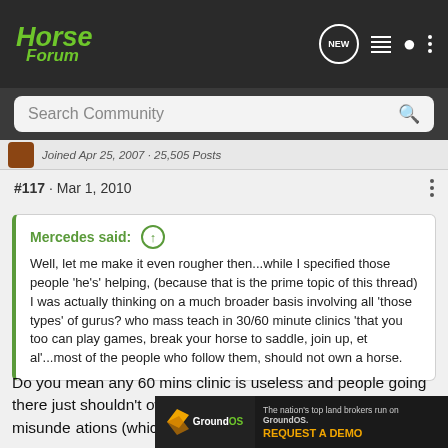Horse Forum
Search Community
Joined Apr 25, 2007 · 25,505 Posts
#117 · Mar 1, 2010
Mercedes said: ↑ Well, let me make it even rougher then...while I specified those people 'he's' helping, (because that is the prime topic of this thread) I was actually thinking on a much broader basis involving all 'those types' of gurus? who mass teach in 30/60 minute clinics 'that you too can play games, break your horse to saddle, join up, et al'...most of the people who follow them, should not own a horse.
Do you mean any 60 mins clinic is useless and people going there just shouldn't own the horse?? I apologies if I misunde ations (which a s are
[Figure (screenshot): GroundOS advertisement banner: The nation's top land brokers run on GroundOS. REQUEST A DEMO]